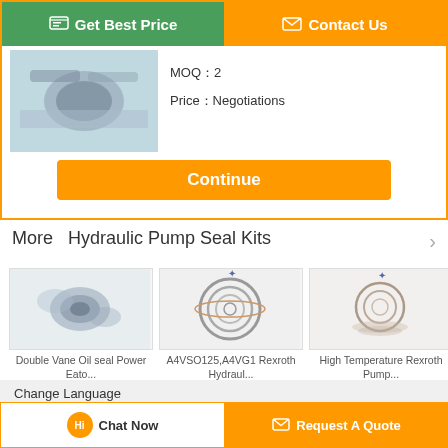[Figure (screenshot): Get Best Price and Contact Us buttons at the top of a product listing page]
MOQ：2
Price：Negotiations
Continue
More  Hydraulic Pump Seal Kits
[Figure (photo): Double Vane Oil seal Power Eato...]
[Figure (photo): A4VSO125,A4VG1 Rexroth Hydraul...]
[Figure (photo): High Temperature Rexroth Pump...]
Change Language
english
Chat Now
Request A Quote